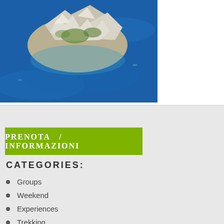[Figure (photo): Aerial view of a rocky island surrounded by deep blue Mediterranean sea water]
PRENOTA / INFORMAZIONI
CATEGORIES:
Groups
Weekend
Experiences
Trekking
Boat tour